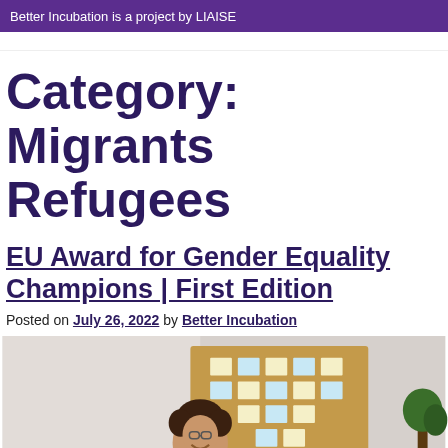Better Incubation is a project by LIAISE
Category: Migrants Refugees
EU Award for Gender Equality Champions | First Edition
Posted on July 26, 2022 by Better Incubation
[Figure (photo): Photo of people in a meeting room with a corkboard covered in sticky notes in the background; a woman with curly hair is smiling and leaning forward.]